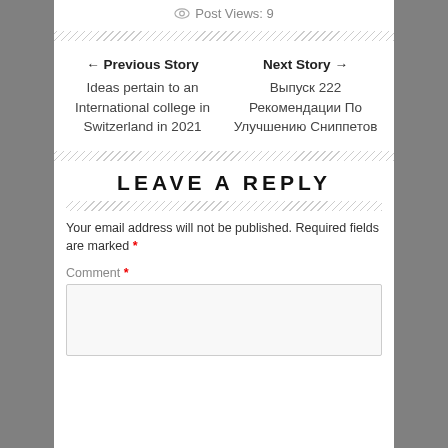Post Views: 9
← Previous Story
Ideas pertain to an International college in Switzerland in 2021
Next Story →
Выпуск 222 Рекомендации По Улучшению Сниппетов
LEAVE A REPLY
Your email address will not be published. Required fields are marked *
Comment *